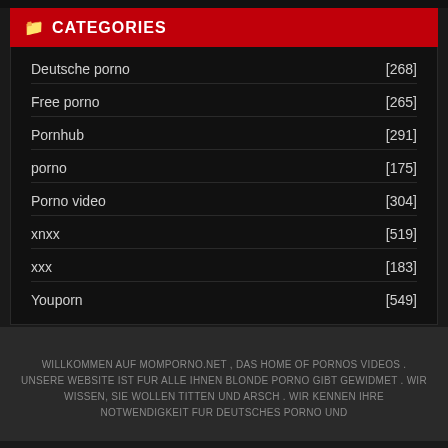CATEGORIES
Deutsche porno [268]
Free porno [265]
Pornhub [291]
porno [175]
Porno video [304]
xnxx [519]
xxx [183]
Youporn [549]
WILLKOMMEN AUF MOMPORNO.NET , DAS HOME OF PORNOS VIDEOS . UNSERE WEBSITE IST FUR ALLE IHNEN BLONDE PORNO GIBT GEWIDMET . WIR WISSEN, SIE WOLLEN TITTEN UND ARSCH . WIR KENNEN IHRE NOTWENDIGKEIT FUR DEUTSCHES PORNO UND